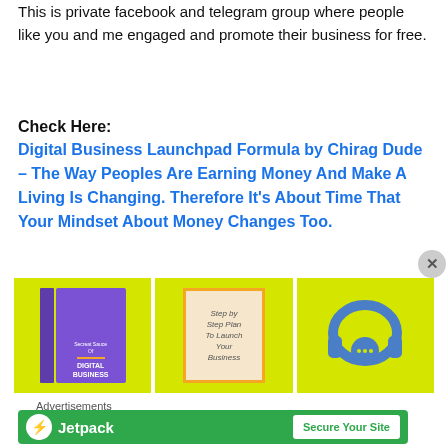This is private facebook and telegram group where people like you and me engaged and promote their business for free.
Check Here:
Digital Business Launchpad Formula by Chirag Dude – The Way Peoples Are Earning Money And Make A Living Is Changing. Therefore It’s About Time That Your Mindset About Money Changes Too.
[Figure (photo): Yellow background image showing three panels: a purple book cover with 'Secret Sauce of Digital Business', a framed card reading 'Step by Step Plan To Launch Your Business', and a blue headphones illustration with chat bubble on yellow background.]
Advertisements
[Figure (infographic): Jetpack advertisement banner with green background, Jetpack logo and name on left, 'Secure Your Site' button on right.]